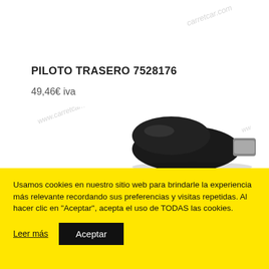PILOTO TRASERO 7528176
49,46€ iva
[Figure (photo): Black automotive rear light/pilot component (piloto trasero), shown against white background with www.carretcar.com watermark]
Usamos cookies en nuestro sitio web para brindarle la experiencia más relevante recordando sus preferencias y visitas repetidas. Al hacer clic en "Aceptar", acepta el uso de TODAS las cookies.
Leer más
Aceptar